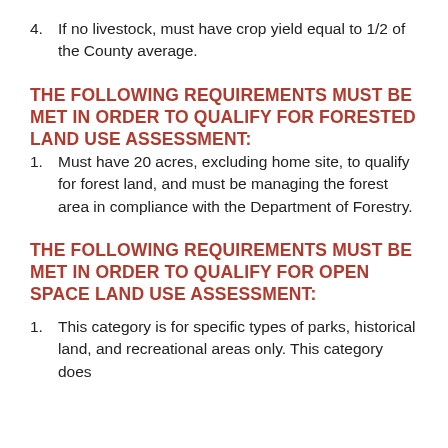4. If no livestock, must have crop yield equal to 1/2 of the County average.
THE FOLLOWING REQUIREMENTS MUST BE MET IN ORDER TO QUALIFY FOR FORESTED LAND USE ASSESSMENT:
1. Must have 20 acres, excluding home site, to qualify for forest land, and must be managing the forest area in compliance with the Department of Forestry.
THE FOLLOWING REQUIREMENTS MUST BE MET IN ORDER TO QUALIFY FOR OPEN SPACE LAND USE ASSESSMENT:
1. This category is for specific types of parks, historical land, and recreational areas only. This category does